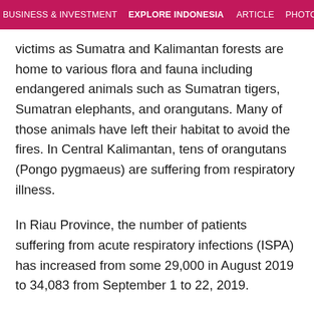BUSINESS & INVESTMENT   EXPLORE INDONESIA   ARTICLE   PHOTO   W
victims as Sumatra and Kalimantan forests are home to various flora and fauna including endangered animals such as Sumatran tigers, Sumatran elephants, and orangutans. Many of those animals have left their habitat to avoid the fires. In Central Kalimantan, tens of orangutans (Pongo pygmaeus) are suffering from respiratory illness.
In Riau Province, the number of patients suffering from acute respiratory infections (ISPA) has increased from some 29,000 in August 2019 to 34,083 from September 1 to 22, 2019.
"Children are getting weaker. They do not want to eat, their body heat is high and it can lead to seizures. Finally, we are